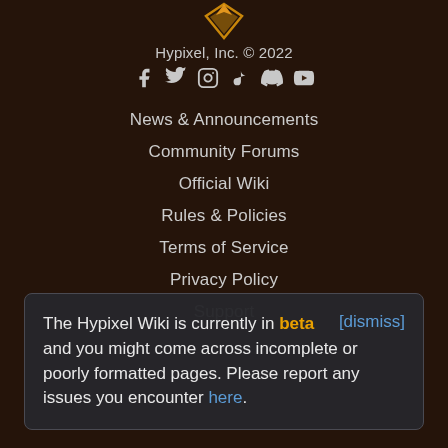[Figure (logo): Hypixel logo arrow/diamond mark in gold/orange at top center]
Hypixel, Inc. © 2022
[Figure (infographic): Row of social media icons: Facebook, Twitter, Instagram, TikTok, Discord, YouTube]
News & Announcements
Community Forums
Official Wiki
Rules & Policies
Terms of Service
Privacy Policy
Support
The Hypixel Wiki is currently in beta and you might come across incomplete or poorly formatted pages. Please report any issues you encounter here. [dismiss]